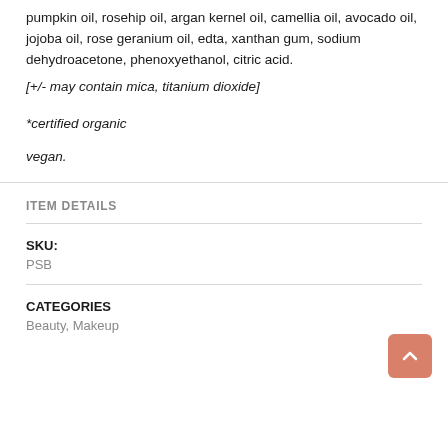pumpkin oil, rosehip oil, argan kernel oil, camellia oil, avocado oil, jojoba oil, rose geranium oil, edta, xanthan gum, sodium dehydroacetone, phenoxyethanol, citric acid.
[+/- may contain mica, titanium dioxide]
*certified organic
vegan.
ITEM DETAILS
SKU:
PSB
CATEGORIES
Beauty, Makeup